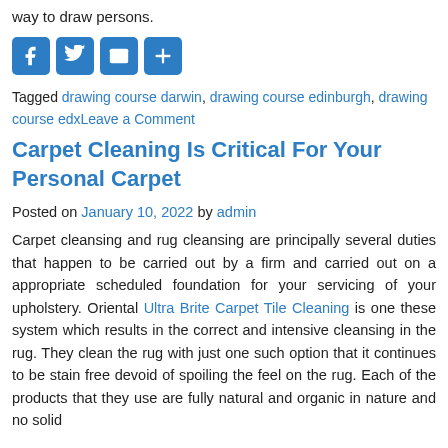way to draw persons.
[Figure (other): Social media share icons: Facebook, Twitter, Email, Share (plus sign)]
Tagged drawing course darwin, drawing course edinburgh, drawing course edxLeave a Comment
Carpet Cleaning Is Critical For Your Personal Carpet
Posted on January 10, 2022 by admin
Carpet cleansing and rug cleansing are principally several duties that happen to be carried out by a firm and carried out on a appropriate scheduled foundation for your servicing of your upholstery. Oriental Ultra Brite Carpet Tile Cleaning is one these system which results in the correct and intensive cleansing in the rug. They clean the rug with just one such option that it continues to be stain free devoid of spoiling the feel on the rug. Each of the products that they use are fully natural and organic in nature and no solid